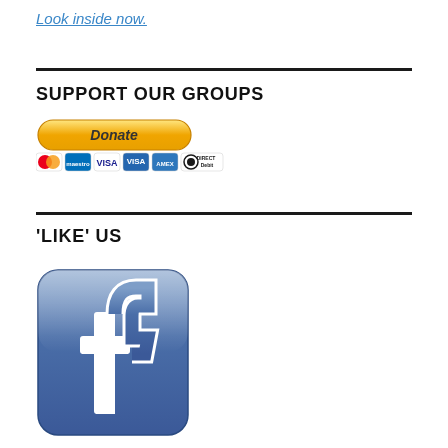Look inside now.
SUPPORT OUR GROUPS
[Figure (illustration): PayPal Donate button with payment method logos (Mastercard, Maestro, Visa, Visa Electron, Amex, Direct Debit)]
'LIKE' US
[Figure (logo): Facebook logo button - rounded rectangle with blue gradient background and white Facebook 'f' letter]